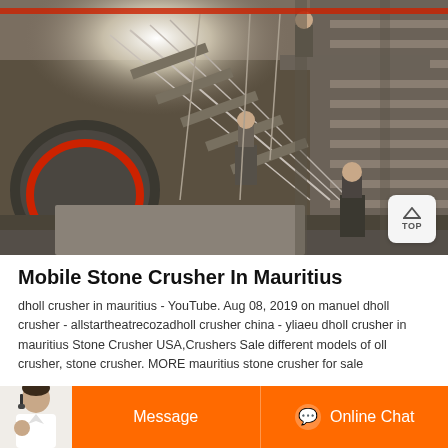[Figure (photo): Industrial stone crusher facility interior showing large machinery, metal staircases, conveyor structures, and workers in a warehouse/factory setting. A large rotating drum/ball mill is visible on the left.]
Mobile Stone Crusher In Mauritius
dholl crusher in mauritius - YouTube. Aug 08, 2019 on manuel dholl crusher - allstartheatrecozadholl crusher china - yliaeu dholl crusher in mauritius Stone Crusher USA,Crushers Sale different models of oll crusher, stone crusher. MORE mauritius stone crusher for sale